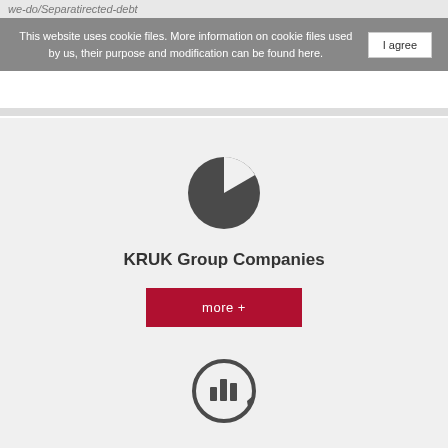we-do/Separatirected-debt
This website uses cookie files. More information on cookie files used by us, their purpose and modification can be found here.
[Figure (illustration): Pie chart icon in dark gray showing a circle with a slice cut out]
KRUK Group Companies
more +
[Figure (illustration): Bar chart icon inside a circular arrow/refresh icon in dark gray]
Board of Directors